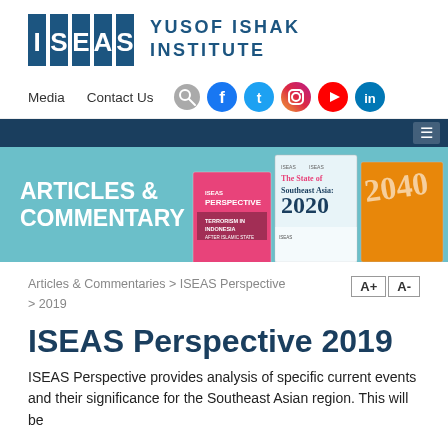[Figure (logo): ISEAS Yusof Ishak Institute logo with blue block letters and institute name]
Media   Contact Us
[Figure (infographic): Articles & Commentary banner with book covers including ISEAS Perspective, The State of Southeast Asia 2020, and other publications]
Articles & Commentaries > ISEAS Perspective > 2019
ISEAS Perspective 2019
ISEAS Perspective provides analysis of specific current events and their significance for the Southeast Asian region. This will be